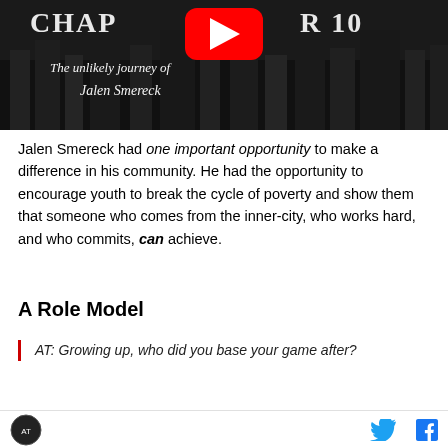[Figure (screenshot): YouTube video thumbnail with black-and-white cityscape background, YouTube play button icon in red, and handwritten white text reading 'CHAPTER 10 The unlikely journey of Jalen Smereck']
Jalen Smereck had one important opportunity to make a difference in his community. He had the opportunity to encourage youth to break the cycle of poverty and show them that someone who comes from the inner-city, who works hard, and who commits, can achieve.
A Role Model
AT: Growing up, who did you base your game after?